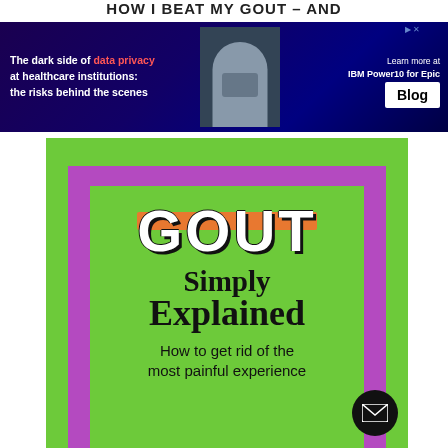HOW I BEAT MY GOUT – AND
[Figure (infographic): Advertisement banner: dark blue background with text 'The dark side of data privacy at healthcare institutions: the risks behind the scenes', image of person with laptop, IBM Power10 for Epic Blog button, Learn more at text]
[Figure (illustration): Book cover style image on green background with purple border frame. Large stylized 'GOUT' text in white with orange highlight stripe, followed by 'Simply Explained' in bold black text, then 'How to get rid of the most painful experience' in smaller text. Email/mail circular button in bottom right corner.]